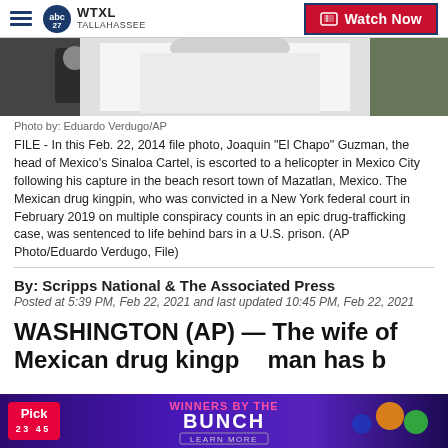WTXL TALLAHASSEE — Watch Now
[Figure (photo): Cropped photo showing a person in a white t-shirt being escorted, partial figures visible]
Photo by: Eduardo Verdugo/AP
FILE - In this Feb. 22, 2014 file photo, Joaquin "El Chapo" Guzman, the head of Mexico's Sinaloa Cartel, is escorted to a helicopter in Mexico City following his capture in the beach resort town of Mazatlan, Mexico. The Mexican drug kingpin, who was convicted in a New York federal court in February 2019 on multiple conspiracy counts in an epic drug-trafficking case, was sentenced to life behind bars in a U.S. prison. (AP Photo/Eduardo Verdugo, File)
By: Scripps National & The Associated Press
Posted at 5:39 PM, Feb 22, 2021 and last updated 10:45 PM, Feb 22, 2021
WASHINGTON (AP) — The wife of Mexican drug kingpin ... man has b...
[Figure (infographic): Pick 4 5 lottery advertisement banner: WINNERS BY THE BUNCH — LEARN MORE]